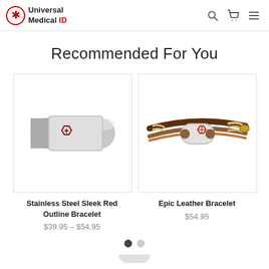Universal Medical ID
Recommended For You
[Figure (photo): Stainless steel sleek bracelet with red outline medical symbol on a white/silver band]
Stainless Steel Sleek Red Outline Bracelet
$39.95 – $54.95
[Figure (photo): Epic leather bracelet with brown/tan braided leather straps and a silver medical ID tag with red symbol, gold clasp]
Epic Leather Bracelet
$54.95